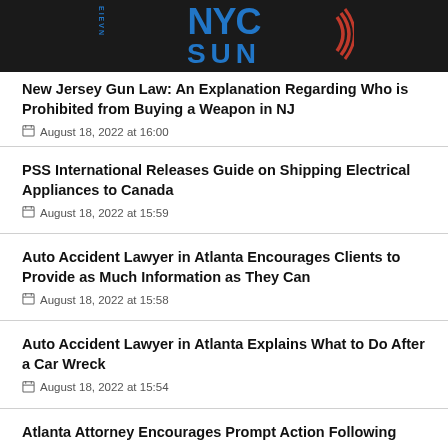NYC Sun
New Jersey Gun Law: An Explanation Regarding Who is Prohibited from Buying a Weapon in NJ
August 18, 2022 at 16:00
PSS International Releases Guide on Shipping Electrical Appliances to Canada
August 18, 2022 at 15:59
Auto Accident Lawyer in Atlanta Encourages Clients to Provide as Much Information as They Can
August 18, 2022 at 15:58
Auto Accident Lawyer in Atlanta Explains What to Do After a Car Wreck
August 18, 2022 at 15:54
Atlanta Attorney Encourages Prompt Action Following